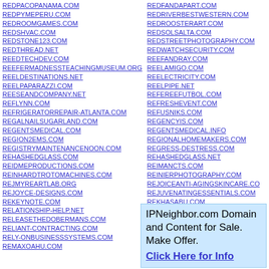REDPACOPANAMA.COM
REDPYMEPERU.COM
REDROOMGAMES.COM
REDSHVAC.COM
REDSTONE123.COM
REDTHREAD.NET
REEDTECHDEV.COM
REEFERMADNESSTEACHINGMUSEUM.ORG
REELDESTINATIONS.NET
REELPAPARAZZI.COM
REESEANDCOMPANY.NET
REFLYNN.COM
REFRIGERATORREPAIR-ATLANTA.COM
REGALNAILSUGARLAND.COM
REGENTSMEDICAL.COM
REGION2EMS.COM
REGISTRYMAINTENANCENOON.COM
REHASHEDGLASS.COM
REIDMEPRODUCTIONS.COM
REINHARDTROTOMACHINES.COM
REJMYREARTLAB.ORG
REJOYCE-DESIGNS.COM
REKEYNOTE.COM
RELATIONSHIP-HELP.NET
RELEASETHEDOBERMANS.COM
RELIANT-CONTRACTING.COM
RELY-ONBUSINESSSYSTEMS.COM
REMAXOAHU.COM
REDFANDAPART.COM
REDRIVERBESTWESTERN.COM
REDROOSTERART.COM
REDSOLSALTA.COM
REDSTREETPHOTOGRAPHY.COM
REDWATCHSECURITY.COM
REEFANDRAY.COM
REELAMIGO.COM
REELECTRICITY.COM
REELPIPE.NET
REFEREEFUTBOL.COM
REFRESHEVENT.COM
REFUSNIKS.COM
REGENCYIS.COM
REGENTSMEDICAL.INFO
REGIONALHOMEMAKERS.COM
REGRESS-DESTRESS.COM
REHASHEDGLASS.NET
REIMANCTS.COM
REINIERPHOTOGRAPHY.COM
REJOICEANTI-AGINGSKINCARE.CO
REJUVENATINGESSENTIALS.COM
REKHASABU.COM
RELATIONSHIPREVITALIZER.COM
IPNeighbor.com Domain and Content for Sale. Make Offer. Click Here for Info